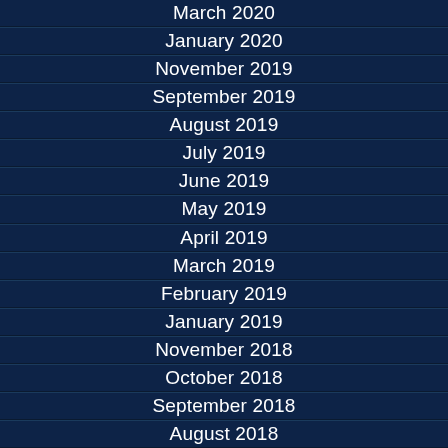March 2020
January 2020
November 2019
September 2019
August 2019
July 2019
June 2019
May 2019
April 2019
March 2019
February 2019
January 2019
November 2018
October 2018
September 2018
August 2018